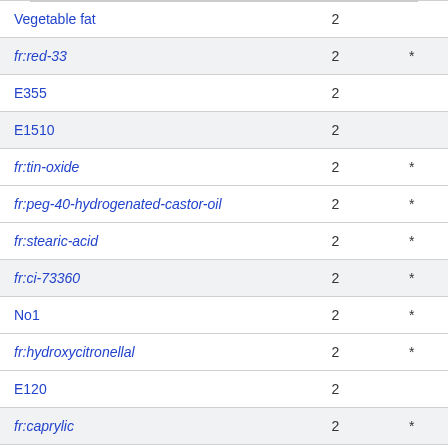| Name | Count |  |
| --- | --- | --- |
| Vegetable fat | 2 |  |
| fr:red-33 | 2 | * |
| E355 | 2 |  |
| E1510 | 2 |  |
| fr:tin-oxide | 2 | * |
| fr:peg-40-hydrogenated-castor-oil | 2 | * |
| fr:stearic-acid | 2 | * |
| fr:ci-73360 | 2 | * |
| No1 | 2 | * |
| fr:hydroxycitronellal | 2 | * |
| E120 | 2 |  |
| fr:caprylic | 2 | * |